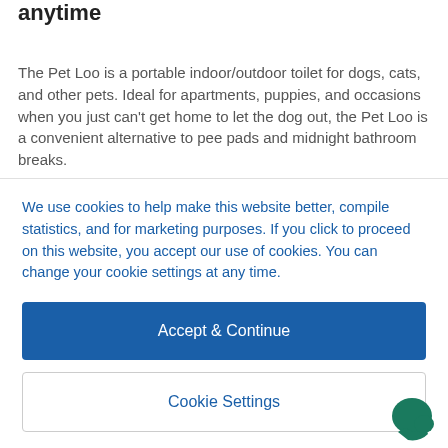anytime
The Pet Loo is a portable indoor/outdoor toilet for dogs, cats, and other pets. Ideal for apartments, puppies, and occasions when you just can't get home to let the dog out, the Pet Loo is a convenient alternative to pee pads and midnight bathroom breaks.
We use cookies to help make this website better, compile statistics, and for marketing purposes. If you click to proceed on this website, you accept our use of cookies. You can change your cookie settings at any time.
Accept & Continue
Cookie Settings